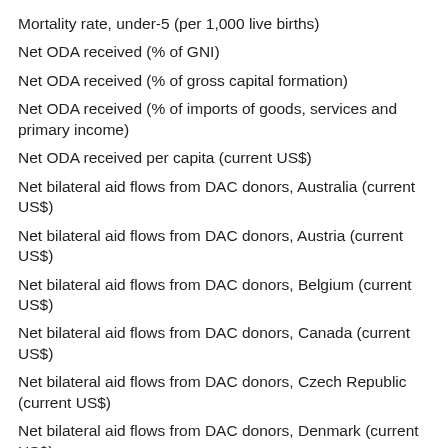Mortality rate, under-5 (per 1,000 live births)
Net ODA received (% of GNI)
Net ODA received (% of gross capital formation)
Net ODA received (% of imports of goods, services and primary income)
Net ODA received per capita (current US$)
Net bilateral aid flows from DAC donors, Australia (current US$)
Net bilateral aid flows from DAC donors, Austria (current US$)
Net bilateral aid flows from DAC donors, Belgium (current US$)
Net bilateral aid flows from DAC donors, Canada (current US$)
Net bilateral aid flows from DAC donors, Czech Republic (current US$)
Net bilateral aid flows from DAC donors, Denmark (current US$)
Net bilateral aid flows from DAC donors, European Union institutions (current US$)